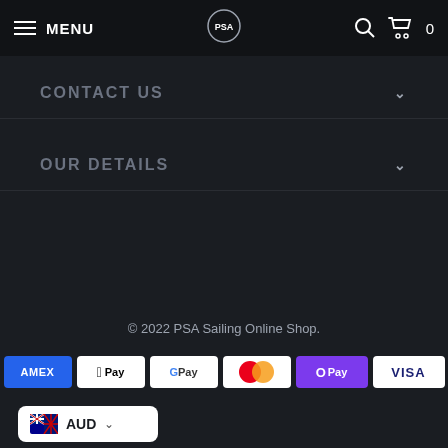MENU | PSA Logo | Search | Cart 0
CONTACT US
OUR DETAILS
© 2022 PSA Sailing Online Shop.
[Figure (other): Payment method icons: American Express, Apple Pay, Google Pay, Mastercard, OPay, Visa]
[Figure (other): Australian flag currency selector showing AUD with dropdown arrow]